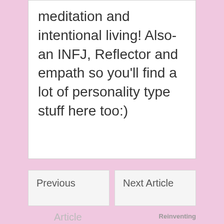meditation and intentional living! Also- an INFJ, Reflector and empath so you'll find a lot of personality type stuff here too:)
Previous
Next Article
Article
Reinventing